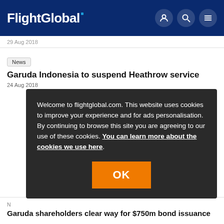FlightGlobal
29 Aug 2018
News
Garuda Indonesia to suspend Heathrow service
24 Aug 2018
Welcome to flightglobal.com. This website uses cookies to improve your experience and for ads personalisation. By continuing to browse this site you are agreeing to our use of these cookies. You can learn more about the cookies we use here.
OK
Garuda shareholders clear way for $750m bond issuance